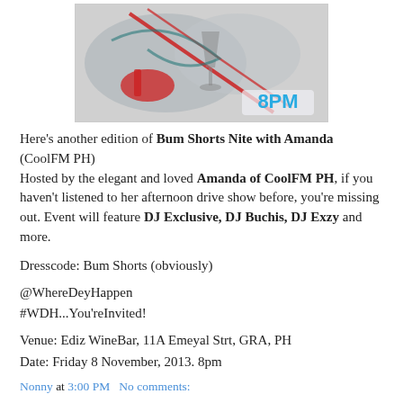[Figure (photo): Event flyer for Bum Shorts Nite with Amanda showing cocktail/party imagery and '8PM' text in blue on a grey/red splatter background]
Here's another edition of Bum Shorts Nite with Amanda (CoolFM PH)
Hosted by the elegant and loved Amanda of CoolFM PH, if you haven't listened to her afternoon drive show before, you're missing out. Event will feature DJ Exclusive, DJ Buchis, DJ Exzy and more.
Dresscode: Bum Shorts (obviously)
@WhereDeyHappen
#WDH...You'reInvited!
Venue: Ediz WineBar, 11A Emeyal Strt, GRA, PH
Date: Friday 8 November, 2013. 8pm
Nonny at 3:00 PM   No comments: